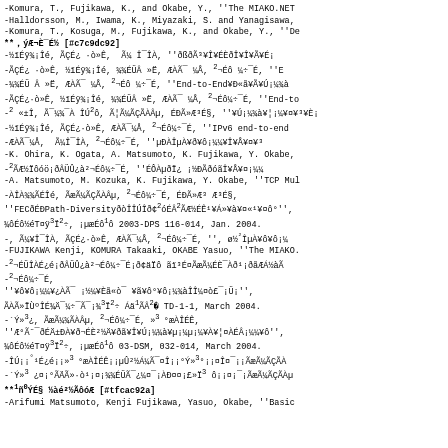-Komura, T., Fujikawa, K., and Okabe, Y., ''The MIAKO.NET
-Halldorsson, M., Iwama, K., Miyazaki, S. and Yanagisawa,
-Komura, T., Kosuga, M., Fujikawa, K., and Okabe, Y., ''De
**，ýÆ¬È¯É½ [#c7c9dc92]
-½ïÉÿ¾¡Îé, ÃÇÉ¿ ·ò»Ê,  Ã¼ Î¯ÎÀ, ''ðßðÃ³¥Î¥ÉÈðÎ¥Î¥Ã¥É¡
-ÃÇÉ¿ ·ò»Ê, ½ïÉÿ¾¡Îé, ¾¾ÉÜÂ »Ë, ÆÀÃ¯ ¼Å, ²¬Éô ¼÷¯É, ''E
-¾¾ÉÜ Â »Ë, ÆÀÃ¯ ¼Å, ²¬Éô ¼÷¯É, ''End-to-End¥Ð«ã¥Ã¥Ú¡¼¾à
-ÃÇÉ¿·ò»Ê, ½ïÉÿ¾¡Îé, ¾¾ÉÜÂ »Ë, ÆÀÃ¯ ¼Å, ²¬Éô¼÷¯É, ''End-to
-² «±Î, Ã¯¼¾¯À ÎÚ²ô, Ã¦Ã¼ÃÇÃÀÂµ, ÉÐÃ»Æ³É§, ''¥Ú¡¼¾à¥¦¡¼¥¤¥³¥È¡
-½ïÉÿ¾¡Îé, ÃÇÉ¿·ò»Ê, ÆÀÃ¯¼Å, ²¬Éô¼÷¯É, ''IPv6 end-to-end
-ÆÀÃ¯¼Å,  Ã¼Î¯ÎÀ, ²¬Éô¼÷¯É, ''µÐÀÎµÀ¥ð¥ô¡¼¼¥Î¥Å¥¤¥³
-K. Ohira, K. Ogata, A. Matsumoto, K. Fujikawa, Y. Okabe,
-²ÃÆ½Ïôóö¡ðÂÜÛ¿à²¬Éô¼÷¯É, ''ÉÔÀµðÏ¿ ¡½ÐÃðóãÎ¥Å¥¤¡¼¼
-A. Matsumoto, M. Kozuka, K. Fujikawa, Y. Okabe, ''TCP Mul
-ÀÎÀ¾¾ÃÉÎé, ÃæÃ¼ÃÇÃÀÂµ, ²¬Éô¼÷¯É, ÉÐÃ»Æ³ Æ³É§,
''FECðÉÐPath-DiversityðòÎÎÚÎð¢²óÉÂ²ÃÆ½ÉÊ¹¥Á»¥à¥¤«¹¥¤ô°'',
¾ôÉô½é¤¤ÿ³Ï²÷, ¡µæÉô¹ô 2003-DPS 116-014, Jan. 2004.
-, Ã¼¥Î¯ÎÀ, ÃÇÉ¿·ò»Ê, ÆÀÃ¯¼Å, ²¬Éô¼÷¯É, '', ø½²ÎµÀ¥ô¥ô¡¼
-FUJIKAWA Kenji, KOMURA Takaaki, OKABE Yasuo, ''The MIAKO.
-²¬ÉÜÎÀÉ¿é¡ðÂÜÛ¿à²¬Éô¼÷¯É¡ð¢äÏô ãï³É¤ÃæÃ¼ÉÈ¯Àð¹¡ðãÆÁ½àÃ
-²¬Éô¼÷¯É,
''¥ô¥ô¡¼¼¥¿ÀÃ¯ ¡½¼¥Èã«ò¯ ¥ã¥ô°¥ô¡¼¾àÎÎ¼¤ò£¯¡Ü¡'',
ÃÀÃ»ÏÙºÎÉ¾Ä¯¼÷¯Ã¯¡¾³Ï²÷ Áä¹ÃÂ²÷2004 TD-1-1, March 2004.
-´Ý»³¿, ÃæÃ¼¾ÃÀÂµ, ²¬Éô¼÷¯É, »³°æÀÎÉÊ,
''Æ°Ã¨¯ðÉÄ±ÐÀ¥ð¬ÉÈ²½Ä¥ðã¥Î¥Ú¡¼¾à¥µ¡¼µ¡¼¥À¥¦¤ÀÉÂ¡¼¼¥ô'',
¾ôÉô½é¤¤ÿ³Ï²÷, ¡µæÉô¹ô 03-DSM, 032-014, March 2004.
-ÎÚ¡¡°¹É¿é¡¡»³°æÀÎÉÊ¡¡µÛ²½Á¼Ã¯¤Î¡¡°Ý»³°¡¡¤Î¤¯¡¡ÃæÃ¼ÃÇÃÀ
-´Ý»³ ¿¤¡°ÃÄÃ»·ò¹¡¤¡¾¾ÉÜÃ¯¿¼¤¯¡ÀÐ¤¤¡£»Ï³ ô¡¡¤¡¯¡ÃæÃ¼ÃÇÃÀµ
**¹ñ°ÝÉ§ ½àé²½ÃôóÆ [#tfcac92a]
-Arifumi Matsumoto, Kenji Fujikawa, Yasuo, Okabe, ''Basic